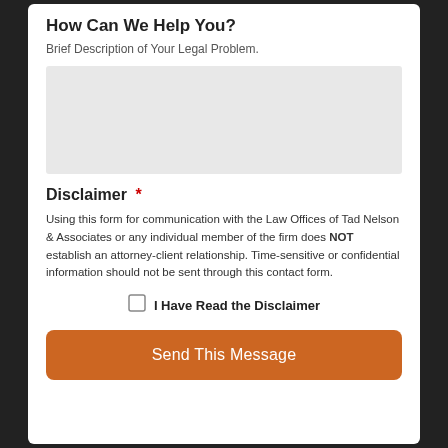How Can We Help You?
Brief Description of Your Legal Problem.
[Figure (other): Large empty text area input field with light gray background]
Disclaimer *
Using this form for communication with the Law Offices of Tad Nelson & Associates or any individual member of the firm does NOT establish an attorney-client relationship. Time-sensitive or confidential information should not be sent through this contact form.
I Have Read the Disclaimer
Send This Message